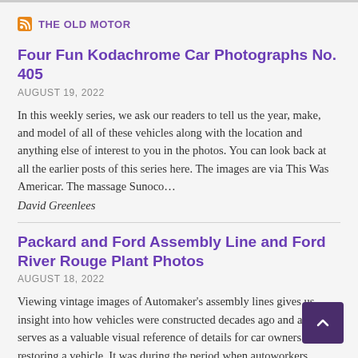THE OLD MOTOR
Four Fun Kodachrome Car Photographs No. 405
AUGUST 19, 2022
In this weekly series, we ask our readers to tell us the year, make, and model of all of these vehicles along with the location and anything else of interest to you in the photos. You can look back at all the earlier posts of this series here. The images are via This Was Americar. The massage Sunoco…
David Greenlees
Packard and Ford Assembly Line and Ford River Rouge Plant Photos
AUGUST 18, 2022
Viewing vintage images of Automaker's assembly lines gives us insight into how vehicles were constructed decades ago and also serves as a valuable visual reference of details for car owners when restoring a vehicle. It was during the period when autoworkers actually operated the machines and